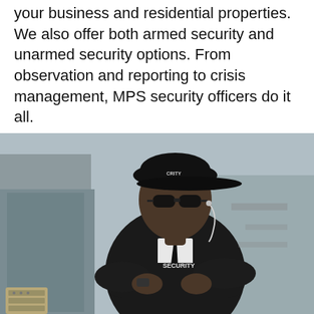your business and residential properties. We also offer both armed security and unarmed security options. From observation and reporting to crisis management, MPS security officers do it all.
[Figure (photo): A security officer wearing a black jacket labeled 'SECURITY', a black cap, sunglasses, and an earpiece, standing with arms crossed in front of a building with a glass door and intercom panel.]